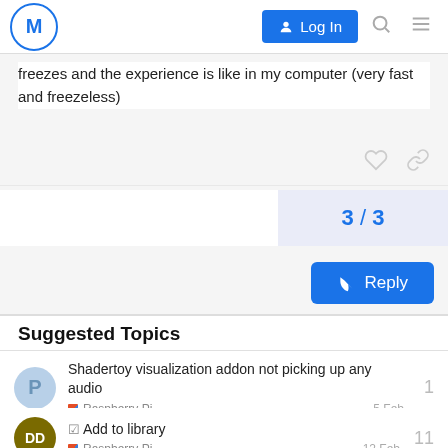M  Log In
freezes and the experience is like in my computer (very fast and freezeless)
3 / 3
Reply
Suggested Topics
Shadertoy visualization addon not picking up any audio
Raspberry Pi  5 Feb  1
☑ Add to library
Raspberry Pi  12 Feb  11
Volume at maximum after reboot  1